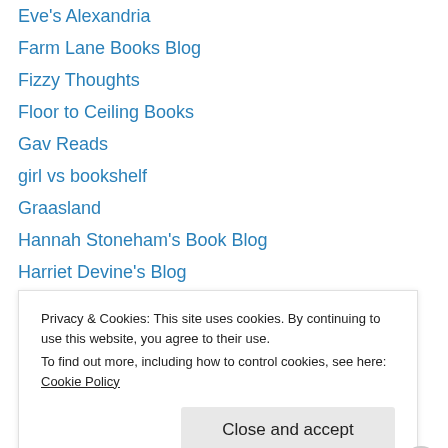Eve's Alexandria
Farm Lane Books Blog
Fizzy Thoughts
Floor to Ceiling Books
Gav Reads
girl vs bookshelf
Graasland
Hannah Stoneham's Book Blog
Harriet Devine's Blog
Historical Tapestry
Hogglestock
In Search of the Classic Mystery Novel
In Spring it is Dawn
Privacy & Cookies: This site uses cookies. By continuing to use this website, you agree to their use.
To find out more, including how to control cookies, see here: Cookie Policy
Close and accept